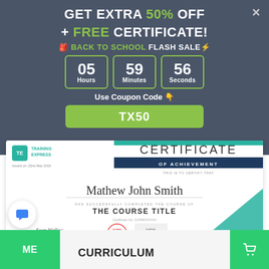GET EXTRA 50% OFF + FREE CERTIFICATE!
🎒 BACK TO SCHOOL FLASH SALE⚡
05 Hours  59 Minutes  56 Seconds
Use Coupon Code 👇
TX50
[Figure (illustration): Training Express certificate of achievement for Mathew John Smith for THE COURSE TITLE, with CPD and Institute of Hospitality logos]
CURRICULUM